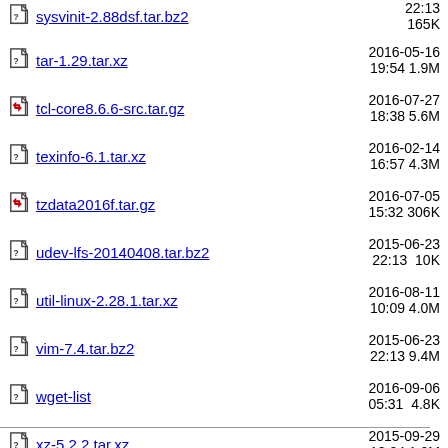sysvinit-2.88dsf.tar.bz2  2015-06-23 22:13  165K
tar-1.29.tar.xz  2016-05-16 19:54  1.9M
tcl-core8.6.6-src.tar.gz  2016-07-27 18:38  5.6M
texinfo-6.1.tar.xz  2016-02-14 16:57  4.3M
tzdata2016f.tar.gz  2016-07-05 15:32  306K
udev-lfs-20140408.tar.bz2  2015-06-23 22:13  10K
util-linux-2.28.1.tar.xz  2016-08-11 10:09  4.0M
vim-7.4.tar.bz2  2015-06-23 22:13  9.4M
wget-list  2016-09-06 05:31  4.8K
xz-5.2.2.tar.xz  2015-09-29 12:24  1.0M
zlib-1.2.8.tar.xz  2015-06-23 22:12  440K